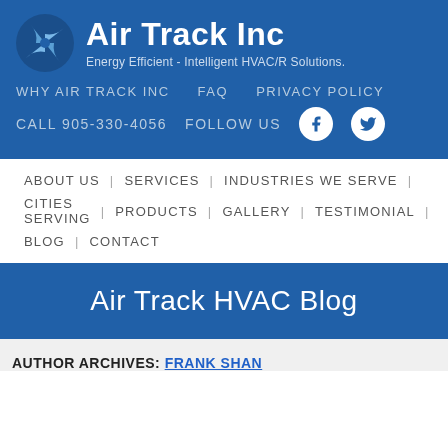[Figure (logo): Air Track Inc logo with blue pinwheel icon and company name, tagline: Energy Efficient - Intelligent HVAC/R Solutions.]
WHY AIR TRACK INC   FAQ   PRIVACY POLICY
CALL 905-330-4056   FOLLOW US
ABOUT US  |  SERVICES  |  INDUSTRIES WE SERVE  |  CITIES SERVING  |  PRODUCTS  |  GALLERY  |  TESTIMONIAL  |  BLOG  |  CONTACT
Air Track HVAC Blog
AUTHOR ARCHIVES: FRANK SHAN